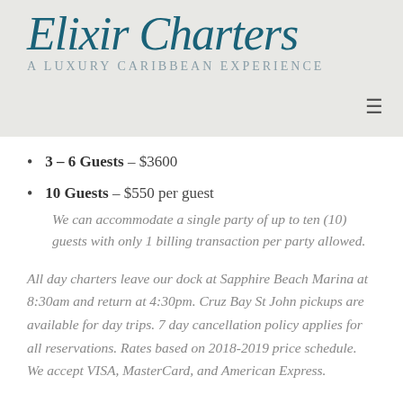[Figure (logo): Elixir Charters logo with script text 'Elixir Charters' in teal and subtitle 'A Luxury Caribbean Experience' in gray small caps, on a light gray background]
3 – 6 Guests – $3600
10 Guests – $550 per guest
We can accommodate a single party of up to ten (10) guests with only 1 billing transaction per party allowed.
All day charters leave our dock at Sapphire Beach Marina at 8:30am and return at 4:30pm. Cruz Bay St John pickups are available for day trips. 7 day cancellation policy applies for all reservations. Rates based on 2018-2019 price schedule. We accept VISA, MasterCard, and American Express.